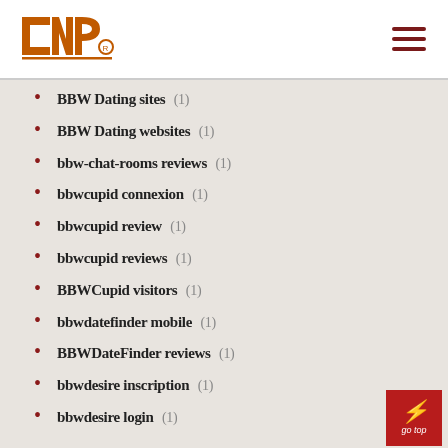INP logo and navigation
BBW Dating sites (1)
BBW Dating websites (1)
bbw-chat-rooms reviews (1)
bbwcupid connexion (1)
bbwcupid review (1)
bbwcupid reviews (1)
BBWCupid visitors (1)
bbwdatefinder mobile (1)
BBWDateFinder reviews (1)
bbwdesire inscription (1)
bbwdesire login (1)